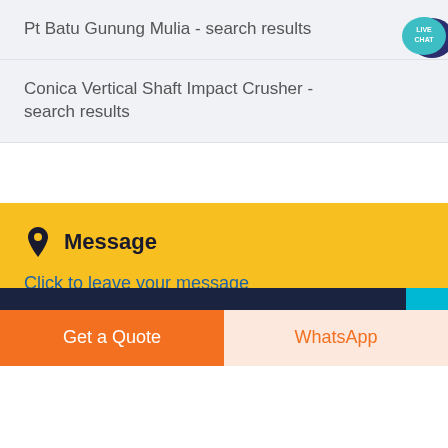Pt Batu Gunung Mulia - search results
Conica Vertical Shaft Impact Crusher - search results
[Figure (illustration): Live Chat speech bubble icon in teal/dark blue]
Message
Click to leave your message
Get a Quote
WhatsApp